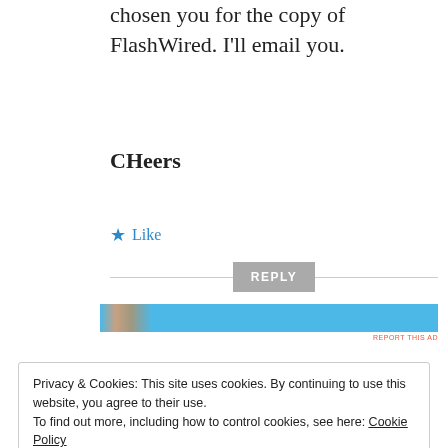chosen you for the copy of FlashWired. I'll email you.
CHeers
★ Like
REPLY
[Figure (other): Ad banner with blue background and small photo thumbnail on the left]
REPORT THIS AD
Privacy & Cookies: This site uses cookies. By continuing to use this website, you agree to their use.
To find out more, including how to control cookies, see here: Cookie Policy
Close and accept